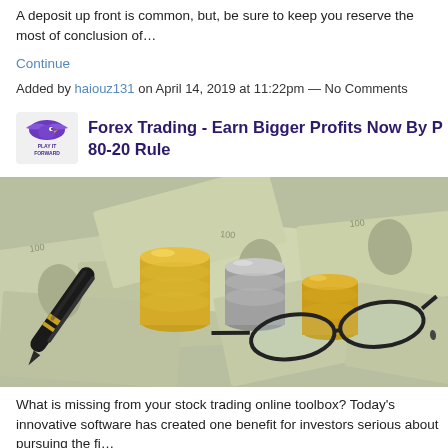A deposit up front is common, but, be sure to keep you reserve the most of conclusion of…
Continue
Added by haiouz131 on April 14, 2019 at 11:22pm — No Comments
Forex Trading - Earn Bigger Profits Now By P 80-20 Rule
[Figure (photo): Photo of stacked gold and silver coins, a black and gold fountain pen, and reading glasses resting on US dollar bills.]
What is missing from your stock trading online toolbox? Today's innovative software has created one benefit for investors serious about pursuing the fi…